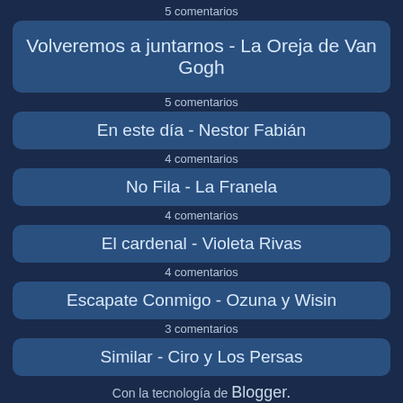5 comentarios
Volveremos a juntarnos - La Oreja de Van Gogh
5 comentarios
En este día - Nestor Fabián
4 comentarios
No Fila - La Franela
4 comentarios
El cardenal - Violeta Rivas
4 comentarios
Escapate Conmigo - Ozuna y Wisin
3 comentarios
Similar - Ciro y Los Persas
Con la tecnología de Blogger.